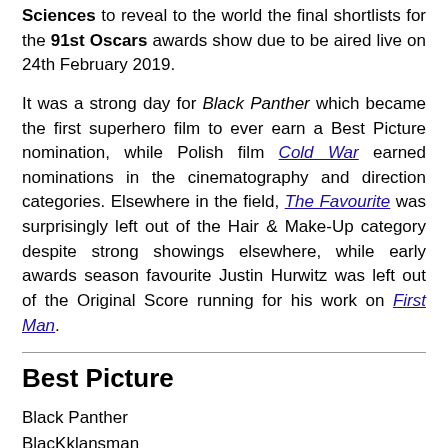Sciences to reveal to the world the final shortlists for the 91st Oscars awards show due to be aired live on 24th February 2019.

It was a strong day for Black Panther which became the first superhero film to ever earn a Best Picture nomination, while Polish film Cold War earned nominations in the cinematography and direction categories. Elsewhere in the field, The Favourite was surprisingly left out of the Hair & Make-Up category despite strong showings elsewhere, while early awards season favourite Justin Hurwitz was left out of the Original Score running for his work on First Man.
Best Picture
Black Panther
BlacKklansman
Bohemian Rhapsody
The Favourite
Green Book
Roma